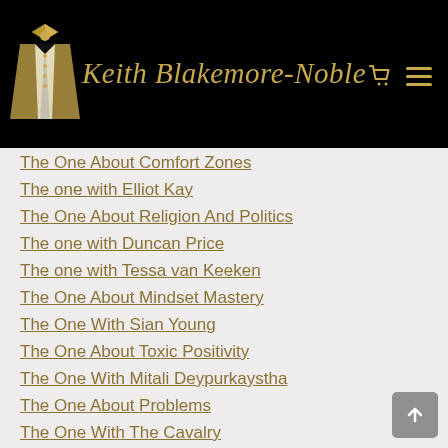Keith Blakemore-Noble
The One About Comfort Zones
The one with Elliot Kay
The One About Religion And Politics
The one with Duncan Price
The one with Tessa van Keeken
The One About Mindset Mastery
The One With Sian Young
The One About Toxic Positivity
The One With Mitali Deypurkaystha
The One About Problems
The One With The Cavalry
The One With Gary Jones
The One About The Masks We Wear
The One With Dan Sadler
The One With My Friends The Experts